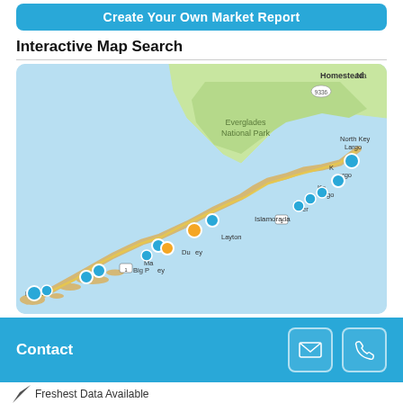Create Your Own Market Report
Interactive Map Search
[Figure (map): Interactive map of the Florida Keys showing locations from Key West to Key Largo and Homestead area. Blue and orange marker pins are placed along US-1 highway corridor. Named locations include Homestead, North Key Largo, Key Largo, Islamorada, Layton, Duck Key, Marathon, Big Pine Key, and Key West. Everglades National Park visible in upper portion.]
Contact
Freshest Data Available